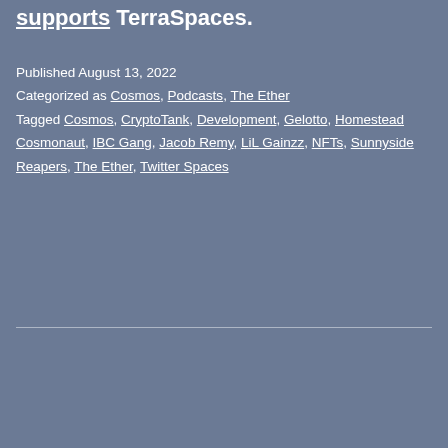supports TerraSpaces.
Published August 13, 2022
Categorized as Cosmos, Podcasts, The Ether
Tagged Cosmos, CryptoTank, Development, Gelotto, Homestead Cosmonaut, IBC Gang, Jacob Remy, LiL Gainzz, NFTs, Sunnyside Reapers, The Ether, Twitter Spaces